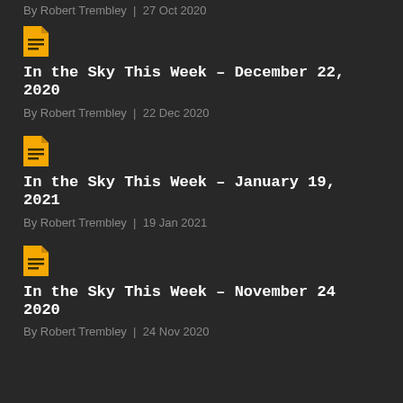By Robert Trembley | 27 Oct 2020
[Figure (illustration): Yellow document icon]
In the Sky This Week – December 22, 2020
By Robert Trembley | 22 Dec 2020
[Figure (illustration): Yellow document icon]
In the Sky This Week – January 19, 2021
By Robert Trembley | 19 Jan 2021
[Figure (illustration): Yellow document icon]
In the Sky This Week – November 24 2020
By Robert Trembley | 24 Nov 2020